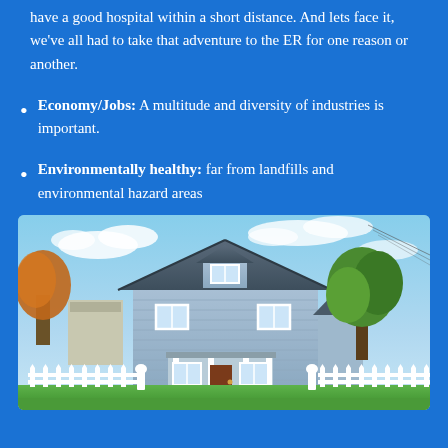have a good hospital within a short distance. And lets face it, we've all had to take that adventure to the ER for one reason or another.
Economy/Jobs: A multitude and diversity of industries is important.
Environmentally healthy: far from landfills and environmental hazard areas
[Figure (photo): A light blue two-story craftsman-style house with white trim, white picket fence, green lawn, and trees with autumn foliage in the background under a partly cloudy sky.]